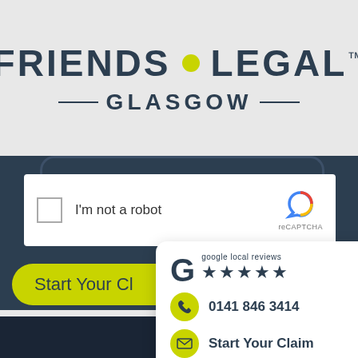[Figure (screenshot): Friends Legal Glasgow logo with yellow dot between FRIENDS and LEGAL text, and GLASGOW subtitle with dashes, followed by a reCAPTCHA widget, a yellow 'Start Your Claim' button, a Google local reviews card with 5 stars, phone number 0141 846 3414, and a Start Your Claim email link, plus a hamburger menu button.]